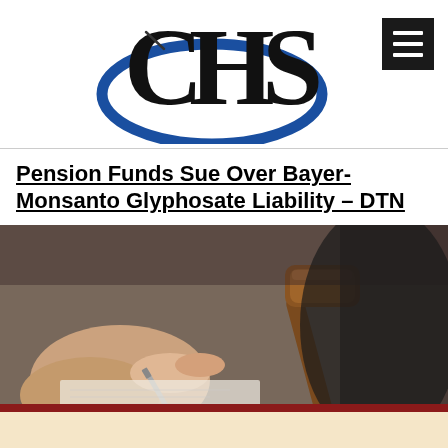[Figure (logo): CHS logo with blue ellipse around letters C, H, S in black serif font]
Pension Funds Sue Over Bayer-Monsanto Glyphosate Liability – DTN
[Figure (photo): Close-up photo of a person signing a document with a pen, with a wooden judge's gavel in the background]